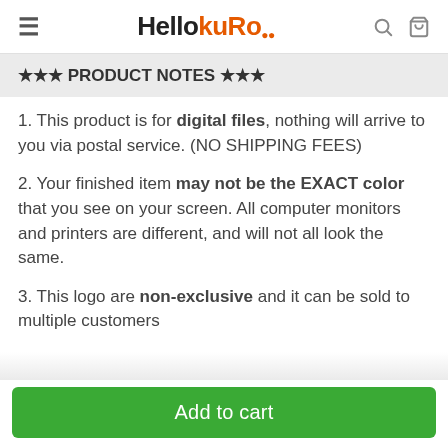HellokuRo
★★★ PRODUCT NOTES ★★★
1. This product is for digital files, nothing will arrive to you via postal service. (NO SHIPPING FEES)
2. Your finished item may not be the EXACT color that you see on your screen. All computer monitors and printers are different, and will not all look the same.
3. This logo are non-exclusive and it can be sold to multiple customers